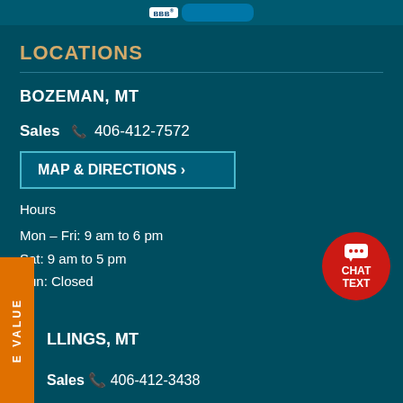BBB logo and teal banner
LOCATIONS
BOZEMAN, MT
Sales ☎ 406-412-7572
MAP & DIRECTIONS ›
Hours
Mon – Fri: 9 am to 6 pm
Sat: 9 am to 5 pm
Sun: Closed
[Figure (other): Red circular chat/text button with speech bubble icon]
LLINGS, MT
Sales ☎ 406-412-3138
E VALUE (orange vertical tab)